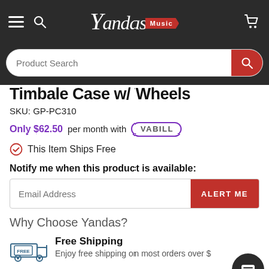Yandas Music
Product Search
Timbale Case w/ Wheels
SKU: GP-PC310
Only $62.50 per month with VABILL
This Item Ships Free
Notify me when this product is available:
Email Address
Why Choose Yandas?
Free Shipping
Enjoy free shipping on most orders over $
Pro Tech Inspection